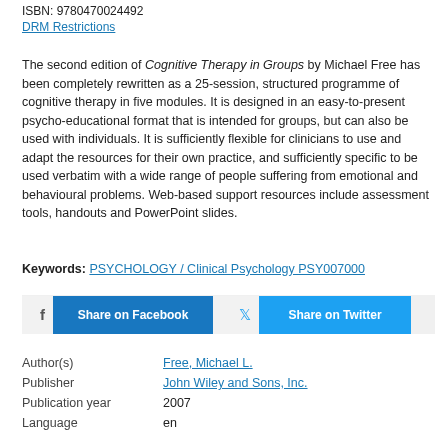ISBN: 9780470024492
DRM Restrictions
The second edition of Cognitive Therapy in Groups by Michael Free has been completely rewritten as a 25-session, structured programme of cognitive therapy in five modules. It is designed in an easy-to-present psycho-educational format that is intended for groups, but can also be used with individuals. It is sufficiently flexible for clinicians to use and adapt the resources for their own practice, and sufficiently specific to be used verbatim with a wide range of people suffering from emotional and behavioural problems. Web-based support resources include assessment tools, handouts and PowerPoint slides.
Keywords: PSYCHOLOGY / Clinical Psychology PSY007000
[Figure (other): Share on Facebook and Share on Twitter buttons]
| Author(s) | Free, Michael L. |
| Publisher | John Wiley and Sons, Inc. |
| Publication year | 2007 |
| Language | en |